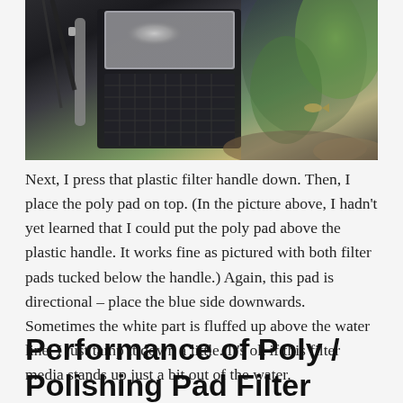[Figure (photo): Close-up photo of an aquarium hang-on-back filter with a poly pad visible on top, dark filter housing, and green aquatic plants and small fish visible in the background tank water.]
Next, I press that plastic filter handle down.  Then, I place the poly pad on top.  (In the picture above, I hadn't yet learned that I could put the poly pad above the plastic handle.  It works fine as pictured with both filter pads tucked below the handle.) Again, this pad is directional – place the blue side downwards.  Sometimes the white part is fluffed up above the water line.  I just tamp it down a little.  It's ok if this filter media stands up just a bit out of the water.
Performance of Poly / Polishing Pad Filter Media: